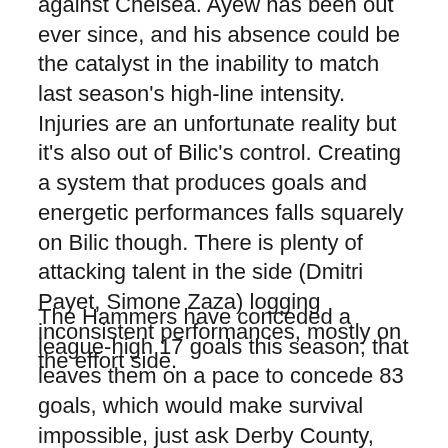against Chelsea. Ayew has been out ever since, and his absence could be the catalyst in the inability to match last season's high-line intensity. Injuries are an unfortunate reality but it's also out of Bilic's control. Creating a system that produces goals and energetic performances falls squarely on Bilic though. There is plenty of attacking talent in the side (Dmitri Payet, Simone Zaza) logging inconsistent performances, mostly on the effort side.
The Hammers have conceded a league-high 17 goals this season; that leaves them on a pace to concede 83 goals, which would make survival impossible, just ask Derby County, which conceded 89 goals in the 2007-08 season and secured relegation by March. When the mixed drink is heavy on goals conceded and light on goals scored, the final concoction usually ends in